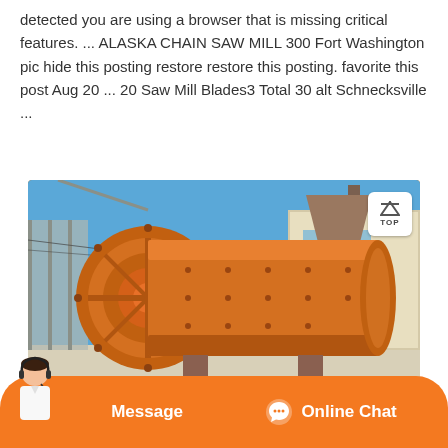detected you are using a browser that is missing critical features. ... ALASKA CHAIN SAW MILL 300 Fort Washington pic hide this posting restore restore this posting. favorite this post Aug 20 ... 20 Saw Mill Blades3 Total 30 alt Schnecksville ...
[Figure (photo): Large orange industrial ball mill machine outdoors at a construction or industrial site, with a building and hopper structure visible in the background under a blue sky.]